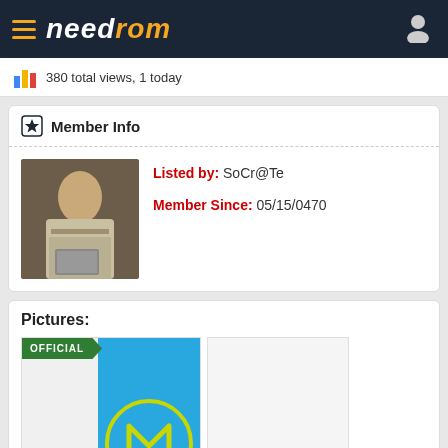needrom
380 total views, 1 today
Member Info
Listed by: SoCr@Te
Member Since: 05/15/0470
Pictures:
[Figure (photo): Motorola logo on blue background with OFFICIAL badge]